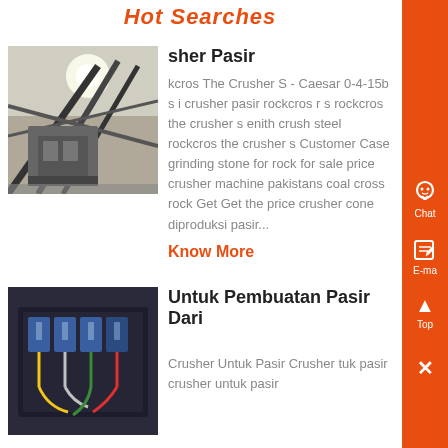Hot Searches
[Figure (photo): Industrial crusher/machinery equipment outdoor, steel structure]
sher Pasir
kcros The Crusher S - Caesar 0-4-15b s i crusher pasir rockcros r s rockcros the crusher s enith crush steel rockcros the crusher s Customer Case grinding stone for rock for sale price crusher machine pakistans coal cross rock Get Get the price crusher cone diproduksi pasir...
Know More
[Figure (photo): Electrical control panel with wires and circuit breakers]
Untuk Pembuatan Pasir Dari
Crusher Untuk Pasir Crusher tuk pasir crusher untuk pasir